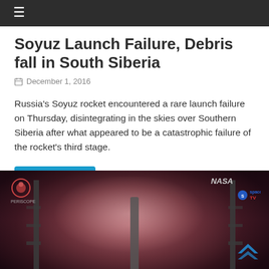≡
Soyuz Launch Failure, Debris fall in South Siberia
December 1, 2016
Russia's Soyuz rocket encountered a rare launch failure on Thursday, disintegrating in the skies over Southern Siberia after what appeared to be a catastrophic failure of the rocket's third stage.
Read more
[Figure (photo): A rocket launch at night with a large pink/red smoke cloud billowing around the launch pad, with NASA and other logos visible in the corners and two launch towers flanking the rocket.]